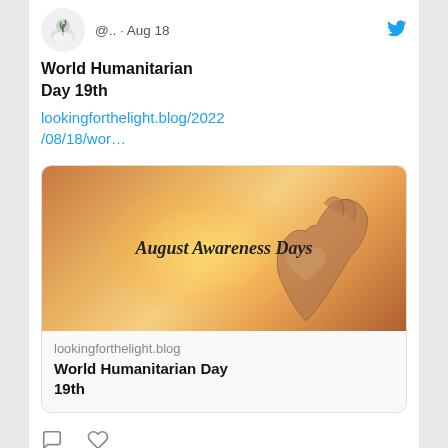@.. · Aug 18
World Humanitarian Day 19th
lookingforthelight.blog/2022/08/18/wor…
[Figure (photo): Image with warm orange glow and hands holding a small heart, with text 'August Awareness Days']
lookingforthelight.blog
World Humanitarian Day 19th
Comment and like icons
Melinda @.. · Aug 17